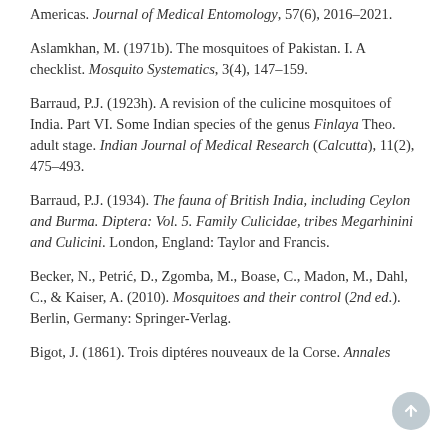Americas. Journal of Medical Entomology, 57(6), 2016–2021.
Aslamkhan, M. (1971b). The mosquitoes of Pakistan. I. A checklist. Mosquito Systematics, 3(4), 147–159.
Barraud, P.J. (1923h). A revision of the culicine mosquitoes of India. Part VI. Some Indian species of the genus Finlaya Theo. adult stage. Indian Journal of Medical Research (Calcutta), 11(2), 475–493.
Barraud, P.J. (1934). The fauna of British India, including Ceylon and Burma. Diptera: Vol. 5. Family Culicidae, tribes Megarhinini and Culicini. London, England: Taylor and Francis.
Becker, N., Petrić, D., Zgomba, M., Boase, C., Madon, M., Dahl, C., & Kaiser, A. (2010). Mosquitoes and their control (2nd ed.). Berlin, Germany: Springer-Verlag.
Bigot, J. (1861). Trois diptéres nouveaux de la Corse. Annales de la Société Entomologique de France, 1, 17–19.